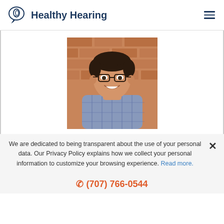Healthy Hearing
[Figure (photo): Headshot of a young man with curly dark hair, glasses, and a plaid shirt, smiling in front of a brick wall background.]
We are dedicated to being transparent about the use of your personal data. Our Privacy Policy explains how we collect your personal information to customize your browsing experience. Read more.
(707) 766-0544